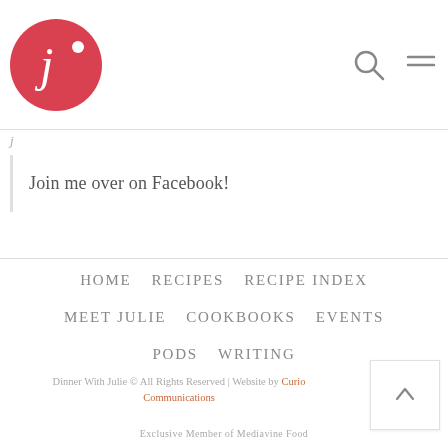Dinner With Julie — logo, search, menu
j
Join me over on Facebook!
HOME    RECIPES    RECIPE INDEX    MEET JULIE    COOKBOOKS    EVENTS    PODS    WRITING
Dinner With Julie © All Rights Reserved | Website by Curious Communications
Exclusive Member of Mediavine Food